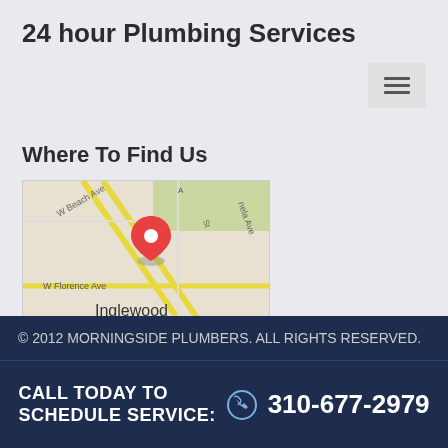24 hour Plumbing Services
[Figure (other): Hamburger menu button icon (three horizontal lines)]
Where To Find Us
[Figure (map): Google Maps screenshot showing Inglewood, CA area with a red location pin marking N La Brea Ave. Streets visible include W Beach Ave, W Florence Ave, and Pamela Ave.]
Morningside Plumbers & Heating
1414 N La Brea Ave
Inglewood, CA 90302
Schedule A Service: 310-677-2979
© 2012 MORNINGSIDE PLUMBERS. ALL RIGHTS RESERVED.
CALL TODAY TO SCHEDULE SERVICE: 310-677-2979